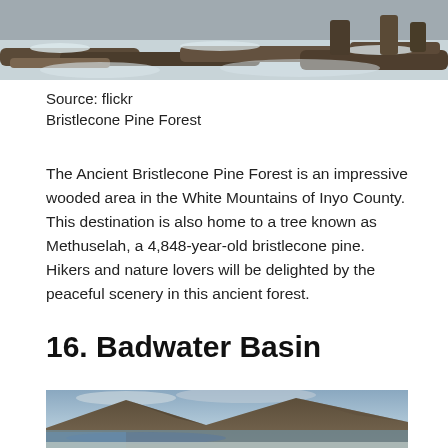[Figure (photo): Top portion of a snowy winter forest scene with snow-covered logs and debris on the ground, partial view cropped at top of page]
Source: flickr
Bristlecone Pine Forest
The Ancient Bristlecone Pine Forest is an impressive wooded area in the White Mountains of Inyo County. This destination is also home to a tree known as Methuselah, a 4,848-year-old bristlecone pine. Hikers and nature lovers will be delighted by the peaceful scenery in this ancient forest.
16. Badwater Basin
[Figure (photo): Landscape photo of Badwater Basin showing mountains reflected in still water under a cloudy sky, partially cropped at bottom of page]